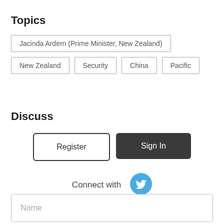Topics
Jacinda Ardern (Prime Minister, New Zealand)
New Zealand
Security
China
Pacific
Discuss
Register
Sign In
Connect with
[Figure (logo): Twitter bird logo icon in blue circle]
Name